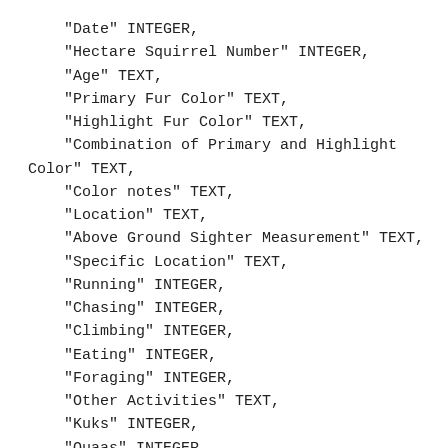"Date" INTEGER,
    "Hectare Squirrel Number" INTEGER,
    "Age" TEXT,
    "Primary Fur Color" TEXT,
    "Highlight Fur Color" TEXT,
    "Combination of Primary and Highlight Color" TEXT,
    "Color notes" TEXT,
    "Location" TEXT,
    "Above Ground Sighter Measurement" TEXT,
    "Specific Location" TEXT,
    "Running" INTEGER,
    "Chasing" INTEGER,
    "Climbing" INTEGER,
    "Eating" INTEGER,
    "Foraging" INTEGER,
    "Other Activities" TEXT,
    "Kuks" INTEGER,
    "Quaas" INTEGER,